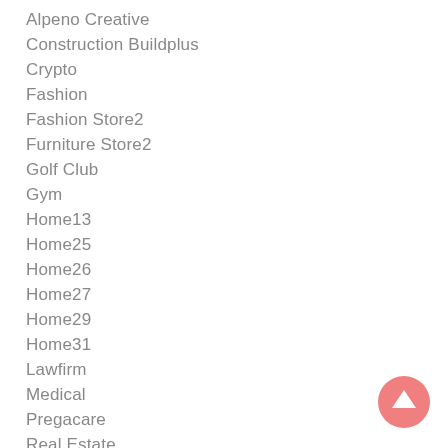Alpeno Creative
Construction Buildplus
Crypto
Fashion
Fashion Store2
Furniture Store2
Golf Club
Gym
Home13
Home25
Home26
Home27
Home29
Home31
Lawfirm
Medical
Pregacare
Real Estate
Shopping
Soluta Nobis
[Figure (illustration): Pink circular button with white upward arrow icon]